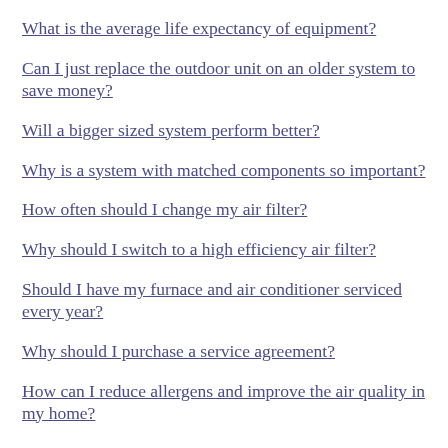What is the average life expectancy of equipment?
Can I just replace the outdoor unit on an older system to save money?
Will a bigger sized system perform better?
Why is a system with matched components so important?
How often should I change my air filter?
Why should I switch to a high efficiency air filter?
Should I have my furnace and air conditioner serviced every year?
Why should I purchase a service agreement?
How can I reduce allergens and improve the air quality in my home?